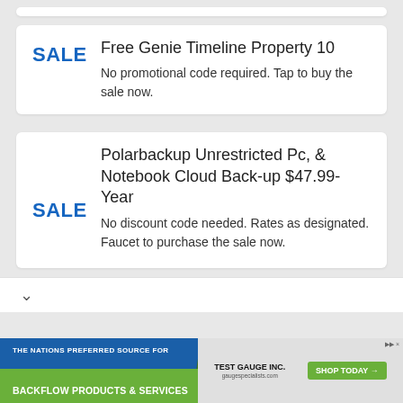Free Genie Timeline Property 10
No promotional code required. Tap to buy the sale now.
Polarbackup Unrestricted Pc, & Notebook Cloud Back-up $47.99-Year
No discount code needed. Rates as designated. Faucet to purchase the sale now.
[Figure (screenshot): Advertisement banner: THE NATIONS PREFERRED SOURCE FOR BACKFLOW PRODUCTS & SERVICES with Test Gauge Inc logo and SHOP TODAY button]